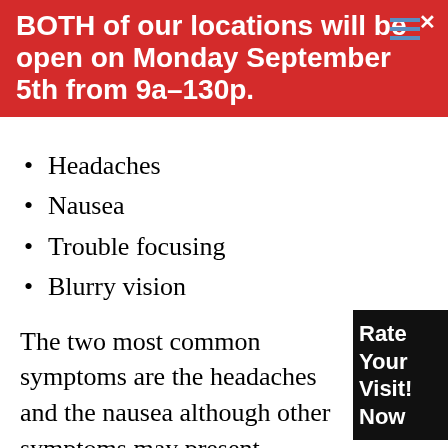BOTH of our locations will be open on Monday September 5th from 9a–130p.
Headaches
Nausea
Trouble focusing
Blurry vision
The two most common symptoms are the headaches and the nausea although other symptoms may present.
To take care of yourself in the event that you do injure your head and suspect a concussion the best course of action is to rest your brain. Sleeping is now one of the best ways that you